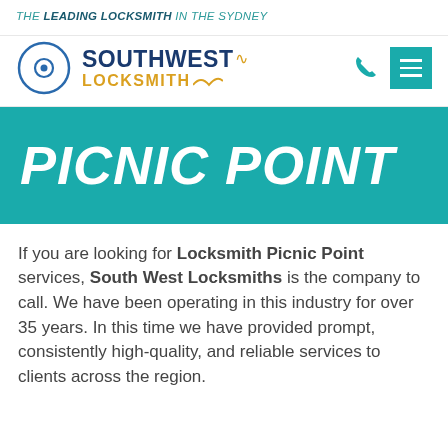THE LEADING LOCKSMITH IN THE SYDNEY
[Figure (logo): Southwest Locksmith logo with circular lock icon and stylized text]
PICNIC POINT
If you are looking for Locksmith Picnic Point services, South West Locksmiths is the company to call. We have been operating in this industry for over 35 years. In this time we have provided prompt, consistently high-quality, and reliable services to clients across the region.